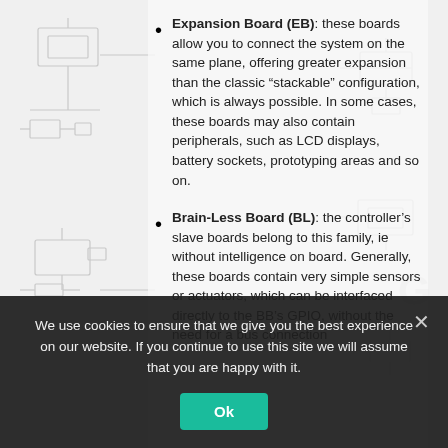[Figure (schematic): Light gray circuit diagram schematic background showing various electronic components and connections]
Expansion Board (EB): these boards allow you to connect the system on the same plane, offering greater expansion than the classic “stackable” configuration, which is always possible. In some cases, these boards may also contain peripherals, such as LCD displays, battery sockets, prototyping areas and so on.
Brain-Less Board (BL): the controller’s slave boards belong to this family, ie without intelligence on board. Generally, these boards contain very simple sensors or actuators, which can be interfaced directly to the BB’s GPIO, without the need for a bus connection
We use cookies to ensure that we give you the best experience on our website. If you continue to use this site we will assume that you are happy with it.